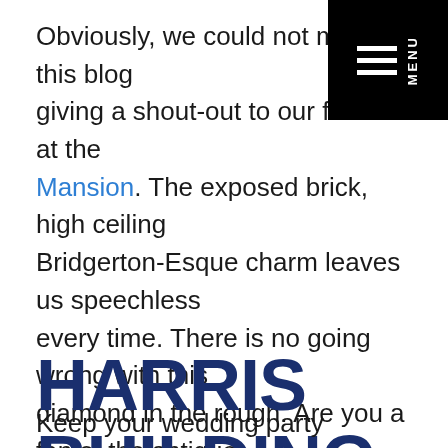Obviously, we could not make this blog giving a shout-out to our friends at the Felt Mansion. The exposed brick, high ceilings, Bridgerton-Esque charm leaves us speechless every time. There is no going wrong with this diamond in the rough. Are you a fan of the antique feel? Check out Felt Mansion to make your vintage dreams become reality!
[Figure (other): Black menu overlay in top-right corner with hamburger icon (three white horizontal lines) and vertical MENU text in white on black background]
HARRIS BUILDING
Keep your wedding party intimate with this